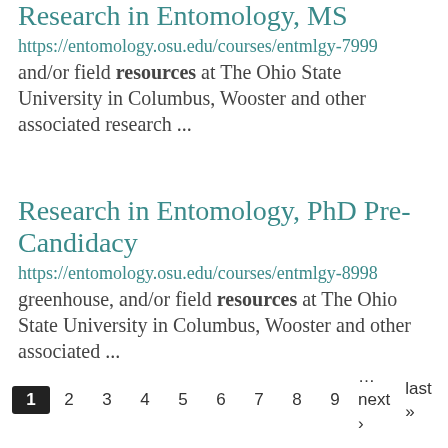Research in Entomology, MS
https://entomology.osu.edu/courses/entmlgy-7999
and/or field resources at The Ohio State University in Columbus, Wooster and other associated research ...
Research in Entomology, PhD Pre-Candidacy
https://entomology.osu.edu/courses/entmlgy-8998
greenhouse, and/or field resources at The Ohio State University in Columbus, Wooster and other associated ...
1 2 3 4 5 6 7 8 9 …next › last »